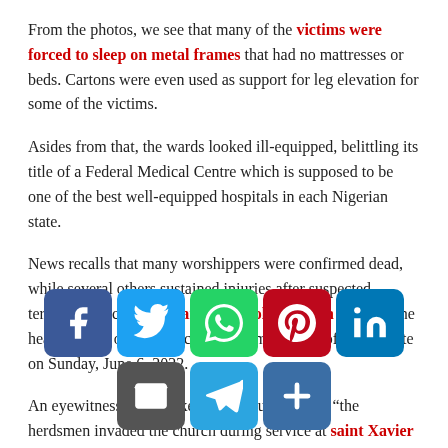From the photos, we see that many of the victims were forced to sleep on metal frames that had no mattresses or beds. Cartons were even used as support for leg elevation for some of the victims.
Asides from that, the wards looked ill-equipped, belittling its title of a Federal Medical Centre which is supposed to be one of the best well-equipped hospitals in each Nigerian state.
News recalls that many worshippers were confirmed dead, while several others sustained injuries after suspected terrorists attacked St Francis Catholic Church in Owo, the headquarters of Owo Local Government Area of Ondo State on Sunday, June 6, 2022.
An eyewitness who spoke to Naijabulletin said “the herdsmen invaded the church during service at saint Xavier Catholic Church OWO. They killed all the people and kidnapped the priest! The video showed the church filled with dead bodies and blood everywhere.
[Figure (infographic): Social media sharing icons: Facebook, Twitter, WhatsApp, Pinterest, LinkedIn (top row); Email, Telegram, Share+ (bottom row)]